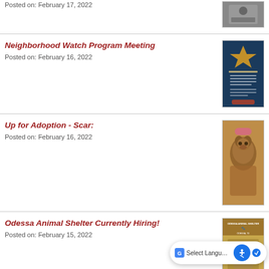Posted on: February 17, 2022
[Figure (photo): Partial photo of event, cropped at top]
Neighborhood Watch Program Meeting
Posted on: February 16, 2022
[Figure (photo): Neighborhood Watch Program Meeting flyer — dark blue background with text and badge icon]
Up for Adoption - Scar:
Posted on: February 16, 2022
[Figure (photo): Photo of a dog (Scar) wearing a pink hat/bow, brindle coat]
Odessa Animal Shelter Currently Hiring!
Posted on: February 15, 2022
[Figure (photo): Odessa Animal Shelter hiring flyer with golden/tan background and dog image]
Up for Adoption - Boston:
Posted on: February 15, 2022
[Figure (photo): Partial photo of a dog (Boston) cropped at page bottom]